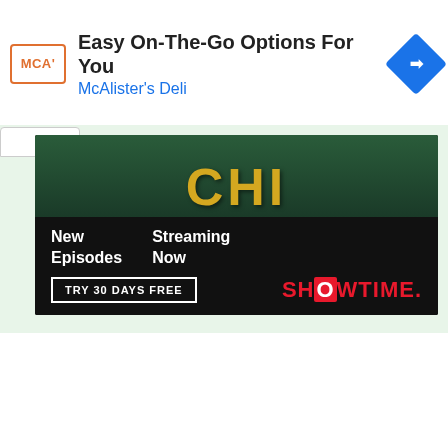[Figure (screenshot): Ad banner for McAlister's Deli with logo, title 'Easy On-The-Go Options For You', subtitle 'McAlister's Deli', and navigation icon]
[Figure (screenshot): Showtime streaming ad: The Chi show image with text 'New Episodes Streaming Now', 'TRY 30 DAYS FREE' button and Showtime logo]
Preparation
Aptitude Questions
MCQs
Find Output Programs
HR Interview Que.
Join Our Telegram Chanel.